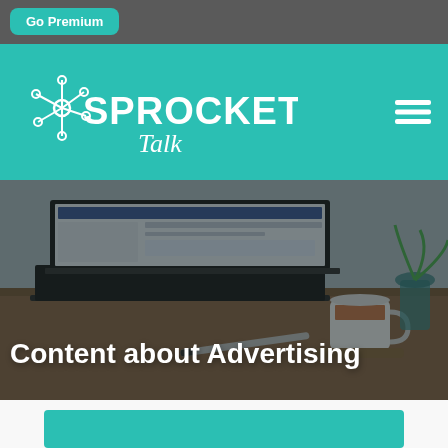Go Premium
[Figure (logo): Sprocket Talk logo — white text with connected-nodes sprocket icon on teal background]
[Figure (photo): Hero image of a laptop, coffee cup, pen and plant on a desk, with dark overlay and bold white text 'Content about Advertising']
Content about Advertising
[Figure (other): Teal banner/card element at bottom of page]